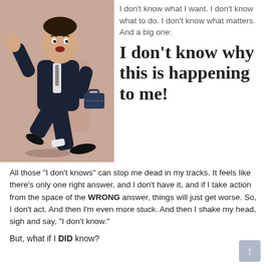[Figure (illustration): Cartoon illustration of a man in a dark suit walking or stumbling, with a confused or flustered expression, against a brownish-tan background.]
I don't know what I want. I don't know what to do. I don't know what matters. And a big one:
I don't know why this is happening to me!
All those "I don't knows" can stop me dead in my tracks. It feels like there's only one right answer, and I don't have it, and if I take action from the space of the WRONG answer, things will just get worse. So, I don't act. And then I'm even more stuck. And then I shake my head, sigh and say, "I don't know."
But, what if I DID know?